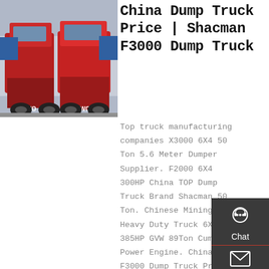[Figure (photo): Rear view of two red HOWO dump trucks parked in a yard, with other trucks and a building in the background.]
China Dump Truck Price | Shacman F3000 Dump Truck
Top truck manufacturing companies X3000 6X4 50 Ton 5.6 Meter Dumper Supplier. F2000 6X4 300HP China TOP Dump Truck Brand Shacman 50 Ton. Chinese Mining Heavy Duty Truck 6X4 385HP GVW 89Ton Cummins Power Engine. China F3000 Dump Truck Price 6X4 336HP EURO IV 50